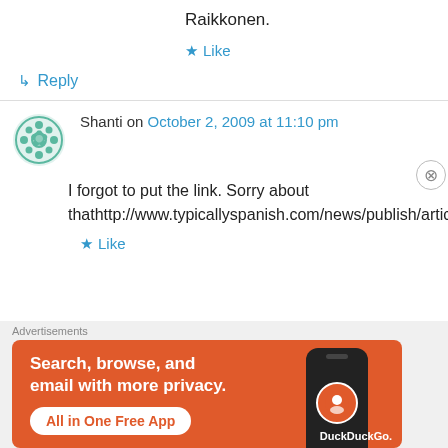Raikkonen.
★ Like
↳ Reply
Shanti on October 2, 2009 at 11:10 pm
I forgot to put the link. Sorry about thathttp://www.typicallyspanish.com/news/publish/article_18142.shtml
★ Like
[Figure (other): DuckDuckGo advertisement banner: 'Search, browse, and email with more privacy. All in One Free App' with DuckDuckGo logo on a phone]
Advertisements